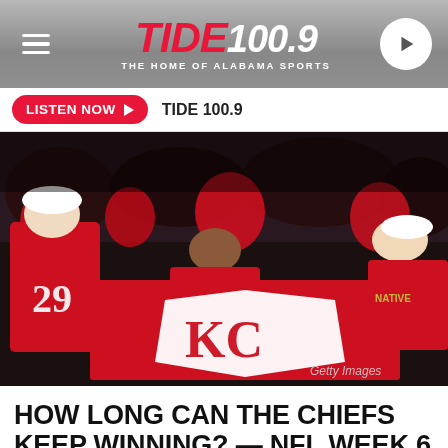TIDE 100.9 — THE HOME OF ALABAMA SPORTS
LISTEN NOW  TIDE 100.9
[Figure (photo): Kansas City Chiefs fans in red jerseys holding a large KC Chiefs flag banner in a crowded stadium. A man wearing jersey #29 is on the left. Getty Images watermark in bottom right.]
HOW LONG CAN THE CHIEFS KEEP WINNING? — NFL WEEK 6